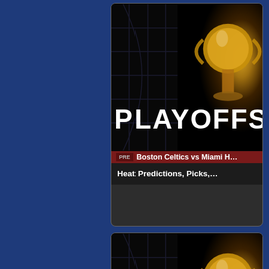[Figure (screenshot): Card thumbnail showing NBA Playoffs dark background with golden trophy and white bold 'PLAYOFFS' text. Red banner with 'Boston Celtics vs Miami' text. Below: 'Heat Predictions, Picks,...']
Boston Celtics vs Miami Heat Predictions, Picks,...
[Figure (screenshot): Duplicate card thumbnail showing NBA Playoffs dark background with golden trophy and white bold 'PLAYOFFS' text. Red banner with 'Boston Celtics vs Miami' text. Below: 'Heat Predictions, Picks,...']
Boston Celtics vs Miami Heat Predictions, Picks,...
[Figure (screenshot): Third partially visible card thumbnail showing NBA Playoffs dark background with golden trophy and white bold 'PLAYOFFS' text.]